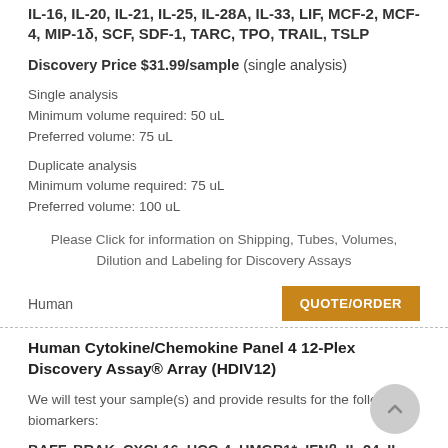IL-16, IL-20, IL-21, IL-25, IL-28A, IL-33, LIF, MCF-2, MCF-4, MIP-1δ, SCF, SDF-1, TARC, TPO, TRAIL, TSLP
Discovery Price $31.99/sample (single analysis)
Single analysis
Minimum volume required: 50 uL
Preferred volume: 75 uL
Duplicate analysis
Minimum volume required: 75 uL
Preferred volume: 100 uL
Please Click for information on Shipping, Tubes, Volumes, Dilution and Labeling for Discovery Assays
Human
QUOTE/ORDER
Human Cytokine/Chemokine Panel 4 12-Plex Discovery Assay® Array (HDIV12)
We will test your sample(s) and provide results for the following biomarkers:
BAFF, BRAK, CXCL16, HCC-4, HMGB1*, IFNβ, IL-24, IL-28B, IL-35, IL-37, MIP-4, YKL40